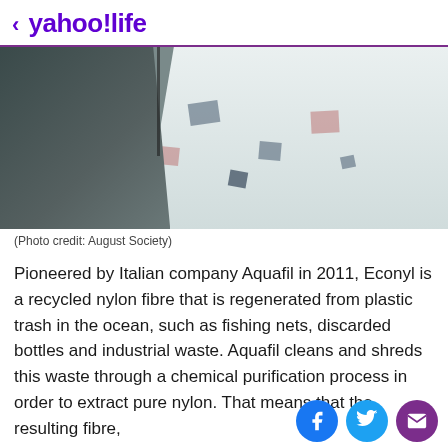< yahoo!life
[Figure (photo): Close-up photo of a person wearing a dark long-sleeve athletic top and patterned white/colorful cycling shorts, with a teal background on the right side.]
(Photo credit: August Society)
Pioneered by Italian company Aquafil in 2011, Econyl is a recycled nylon fibre that is regenerated from plastic trash in the ocean, such as fishing nets, discarded bottles and industrial waste. Aquafil cleans and shreds this waste through a chemical purification process in order to extract pure nylon. That means that the resulting fibre, Econyl is no different from virgin nylon...